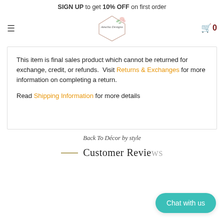SIGN UP to get 10% OFF on first order
[Figure (logo): Amelia Designs floral logo with geometric diamond shape and decorative script text]
This item is final sales product which cannot be returned for exchange, credit, or refunds.  Visit Returns & Exchanges for more information on completing a return.

Read Shipping Information for more details
Back To Décor by style
Customer Reviews
Chat with us